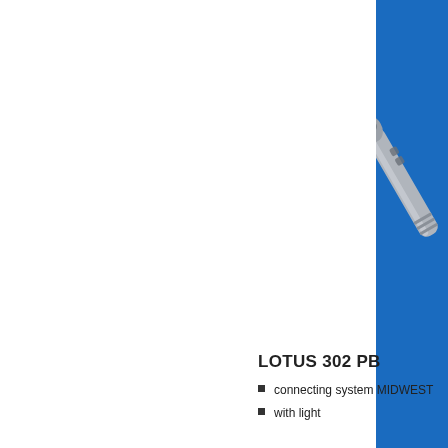[Figure (photo): Blue sidebar panel on the right edge of the page with a dental handpiece product image (LOTUS 302 PB) shown partially at center-right, gray metallic handpiece angled diagonally against blue background]
LOTUS 302 PB
connecting system MIDWEST
with light